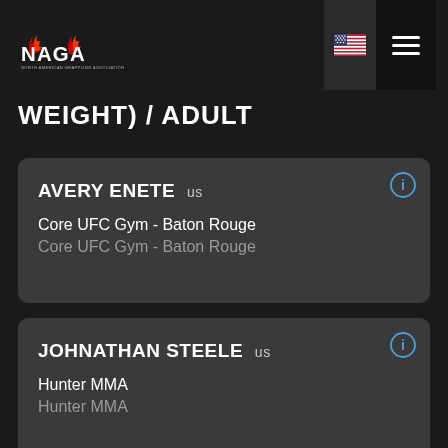NAGA - North American Grappling Association
WEIGHT) / ADULT
AVERY ENETE us
Core UFC Gym - Baton Rouge
Core UFC Gym - Baton Rouge
JOHNATHAN STEELE us
Hunter MMA
Hunter MMA
PHILL BERTRAND us